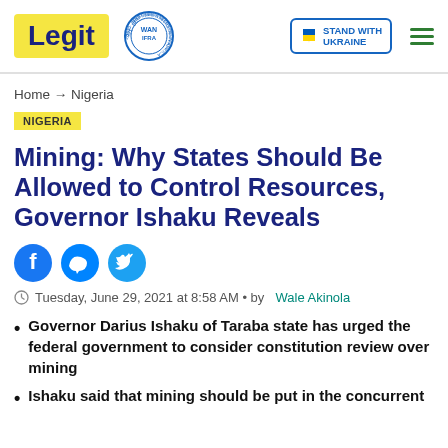Legit | WAN IFRA 2021 Best News Website in Africa | Stand with Ukraine
Home → Nigeria
NIGERIA
Mining: Why States Should Be Allowed to Control Resources, Governor Ishaku Reveals
[Figure (other): Social share icons: Facebook, Messenger, Twitter]
Tuesday, June 29, 2021 at 8:58 AM • by Wale Akinola
Governor Darius Ishaku of Taraba state has urged the federal government to consider constitution review over mining
Ishaku said that mining should be put in the concurrent